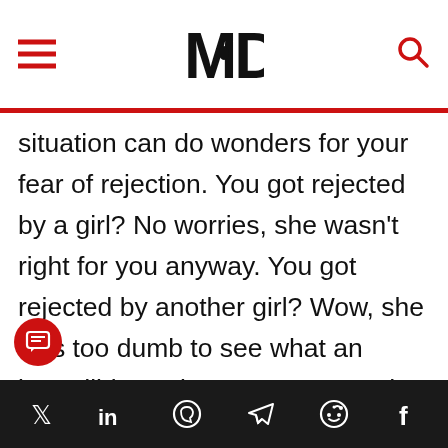MD (logo with hamburger menu and search icon)
situation can do wonders for your fear of rejection. You got rejected by a girl? No worries, she wasn't right for you anyway. You got rejected by another girl? Wow, she was too dumb to see what an incredibly cool guy you are, so that sucks for her.

Whatever it is that's got you down—be
Social share icons: Twitter, LinkedIn, WhatsApp, Telegram, Reddit, Facebook